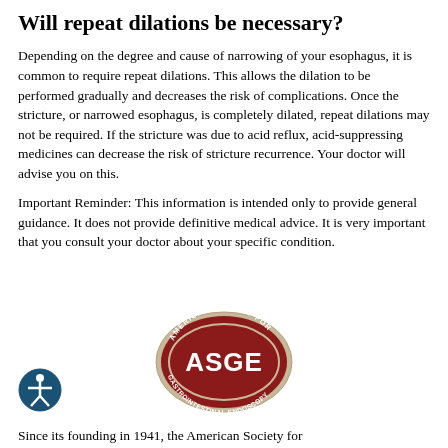Will repeat dilations be necessary?
Depending on the degree and cause of narrowing of your esophagus, it is common to require repeat dilations. This allows the dilation to be performed gradually and decreases the risk of complications. Once the stricture, or narrowed esophagus, is completely dilated, repeat dilations may not be required. If the stricture was due to acid reflux, acid-suppressing medicines can decrease the risk of stricture recurrence. Your doctor will advise you on this.
Important Reminder: This information is intended only to provide general guidance. It does not provide definitive medical advice. It is very important that you consult your doctor about your specific condition.
[Figure (logo): ASGE American Society for Gastrointestinal Endoscopy oval logo with dark red background and white text]
[Figure (logo): Blue circle accessibility icon with white figure]
Since its founding in 1941, the American Society for